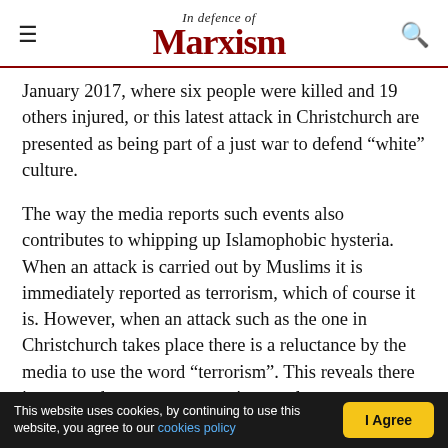In Defence of Marxism
January 2017, where six people were killed and 19 others injured, or this latest attack in Christchurch are presented as being part of a just war to defend “white” culture.
The way the media reports such events also contributes to whipping up Islamophobic hysteria. When an attack is carried out by Muslims it is immediately reported as terrorism, which of course it is. However, when an attack such as the one in Christchurch takes place there is a reluctance by the media to use the word “terrorism”. This reveals there is an agenda to portray terrorism as always...
This website uses cookies, by continuing to use this website, you agree to our cookies policy | I Agree